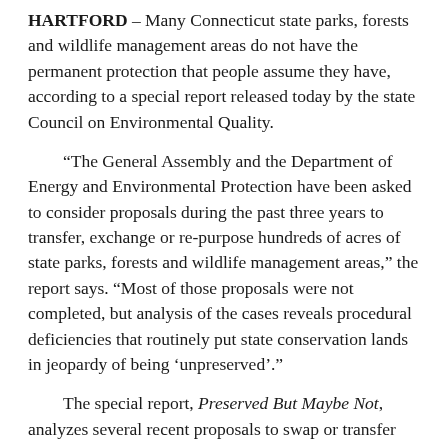HARTFORD – Many Connecticut state parks, forests and wildlife management areas do not have the permanent protection that people assume they have, according to a special report released today by the state Council on Environmental Quality.
“The General Assembly and the Department of Energy and Environmental Protection have been asked to consider proposals during the past three years to transfer, exchange or re-purpose hundreds of acres of state parks, forests and wildlife management areas,” the report says. “Most of those proposals were not completed, but analysis of the cases reveals procedural deficiencies that routinely put state conservation lands in jeopardy of being ‘unpreserved’.”
The special report, Preserved But Maybe Not, analyzes several recent proposals to swap or transfer state conservation lands and finds that three common